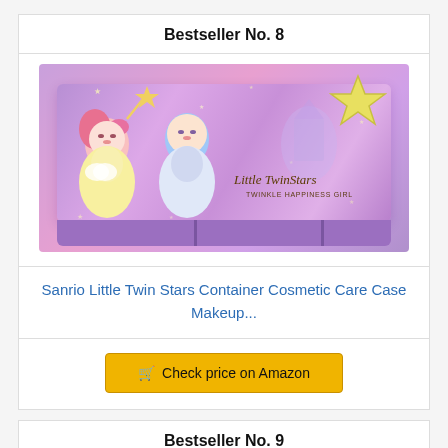Bestseller No. 8
[Figure (photo): Sanrio Little Twin Stars purple rectangular cosmetic case with two cartoon characters and a yellow star ornament on top]
Sanrio Little Twin Stars Container Cosmetic Care Case Makeup...
Check price on Amazon
Bestseller No. 9
[Figure (photo): Partial view of a room/home product image]